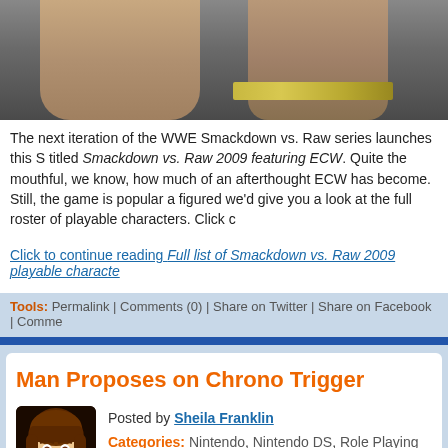[Figure (photo): Cropped photo showing torsos of shirtless wrestlers, one wearing a championship belt, from WWE Smackdown vs. Raw 2009 video game]
The next iteration of the WWE Smackdown vs. Raw series launches this S titled Smackdown vs. Raw 2009 featuring ECW. Quite the mouthful, we know, how much of an afterthought ECW has become. Still, the game is popular a figured we'd give you a look at the full roster of playable characters. Click c
Click to continue reading Full list of Smackdown vs. Raw 2009 playable characte
Tools: Permalink | Comments (0) | Share on Twitter | Share on Facebook | Comme
Man Proposes on Chrono Trigger
[Figure (illustration): Avatar icon of a cartoon anime-style girl with brown hair and brown eyes on dark background]
Posted by Sheila Franklin
Categories: Nintendo, Nintendo DS, Role Playing Games, Square E